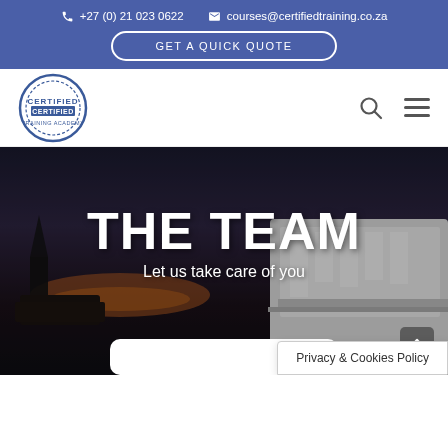+27 (0) 21 023 0622   courses@certifiedtraining.co.za
GET A QUICK QUOTE
[Figure (logo): Certified Training circular stamp logo in blue]
THE TEAM
Let us take care of you
Privacy & Cookies Policy